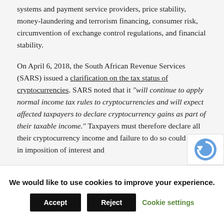systems and payment service providers, price stability, money-laundering and terrorism financing, consumer risk, circumvention of exchange control regulations, and financial stability.
On April 6, 2018, the South African Revenue Services (SARS) issued a clarification on the tax status of cryptocurrencies. SARS noted that it "will continue to apply normal income tax rules to cryptocurrencies and will expect affected taxpayers to declare cryptocurrency gains as part of their taxable income." Taxpayers must therefore declare all their cryptocurrency income and failure to do so could result in imposition of interest and
We would like to use cookies to improve your experience.